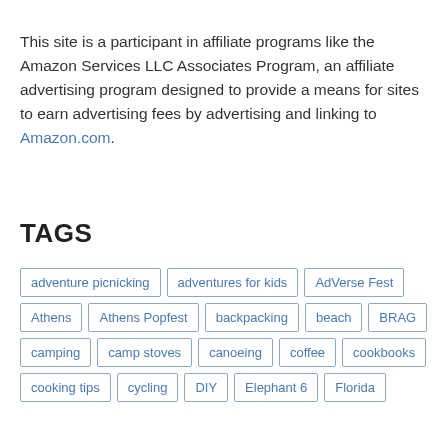This site is a participant in affiliate programs like the Amazon Services LLC Associates Program, an affiliate advertising program designed to provide a means for sites to earn advertising fees by advertising and linking to Amazon.com.
TAGS
adventure picnicking
adventures for kids
AdVerse Fest
Athens
Athens Popfest
backpacking
beach
BRAG
camping
camp stoves
canoeing
coffee
cookbooks
cooking tips
cycling
DIY
Elephant 6
Florida